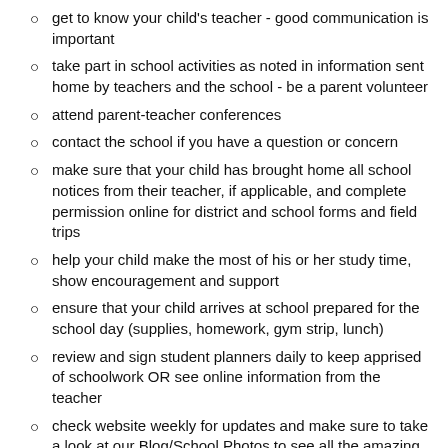get to know your child's teacher - good communication is important
take part in school activities as noted in information sent home by teachers and the school - be a parent volunteer
attend parent-teacher conferences
contact the school if you have a question or concern
make sure that your child has brought home all school notices from their teacher, if applicable, and complete permission online for district and school forms and field trips
help your child make the most of his or her study time, show encouragement and support
ensure that your child arrives at school prepared for the school day (supplies, homework, gym strip, lunch)
review and sign student planners daily to keep apprised of schoolwork OR see online information from the teacher
check website weekly for updates and make sure to take a look at our Blog/School Photos to see all the amazing